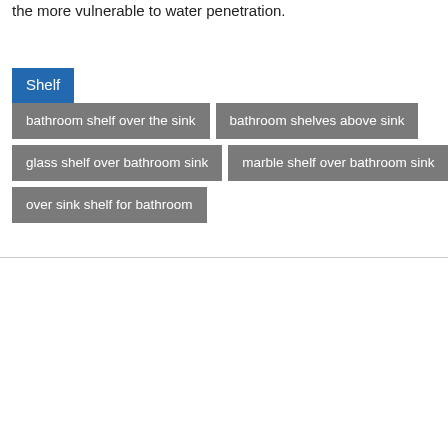the more vulnerable to water penetration.
Shelf
bathroom shelf over the sink
bathroom shelves above sink
glass shelf over bathroom sink
marble shelf over bathroom sink
over sink shelf for bathroom